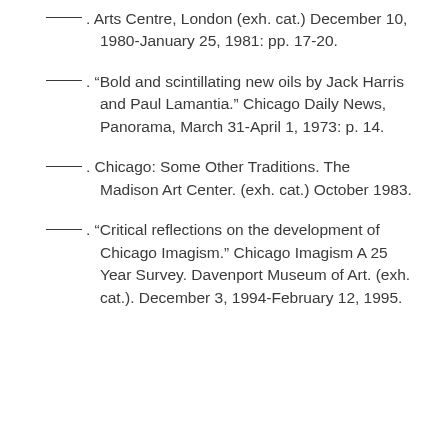___. Arts Centre, London (exh. cat.) December 10, 1980-January 25, 1981: pp. 17-20.
___. “Bold and scintillating new oils by Jack Harris and Paul Lamantia.” Chicago Daily News, Panorama, March 31-April 1, 1973: p. 14.
___. Chicago: Some Other Traditions. The Madison Art Center. (exh. cat.) October 1983.
___. “Critical reflections on the development of Chicago Imagism.” Chicago Imagism A 25 Year Survey. Davenport Museum of Art. (exh. cat.). December 3, 1994-February 12, 1995.